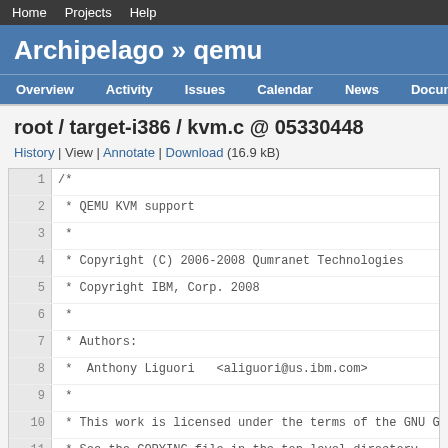Home  Projects  Help
Archipelago » qemu
Overview  Activity  Issues  Calendar  News  Documents  W
root / target-i386 / kvm.c @ 05330448
History | View | Annotate | Download (16.9 kB)
1  /*
2  * QEMU KVM support
3  *
4  * Copyright (C) 2006-2008 Qumranet Technologies
5  * Copyright IBM, Corp. 2008
6  *
7  * Authors:
8  *  Anthony Liguori   <aliguori@us.ibm.com>
9  *
10 * This work is licensed under the terms of the GNU GPL,
11 * See the COPYING file in the top-level directory.
12 *
13 */
14
15 #include <sys/types.h>
16 #include <sys/ioctl.h>